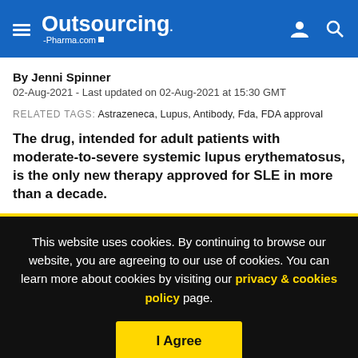Outsourcing-Pharma.com
By Jenni Spinner
02-Aug-2021 - Last updated on 02-Aug-2021 at 15:30 GMT
RELATED TAGS: Astrazeneca, Lupus, Antibody, Fda, FDA approval
The drug, intended for adult patients with moderate-to-severe systemic lupus erythematosus, is the only new therapy approved for SLE in more than a decade.
This website uses cookies. By continuing to browse our website, you are agreeing to our use of cookies. You can learn more about cookies by visiting our privacy & cookies policy page.